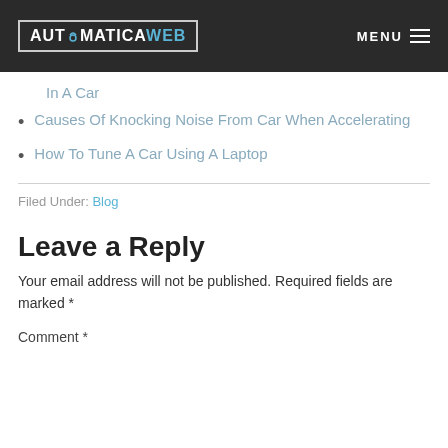AUTOMATICAWEB  MENU
In A Car
Causes Of Knocking Noise From Car When Accelerating
How To Tune A Car Using A Laptop
Filed Under: Blog
Leave a Reply
Your email address will not be published. Required fields are marked *
Comment *